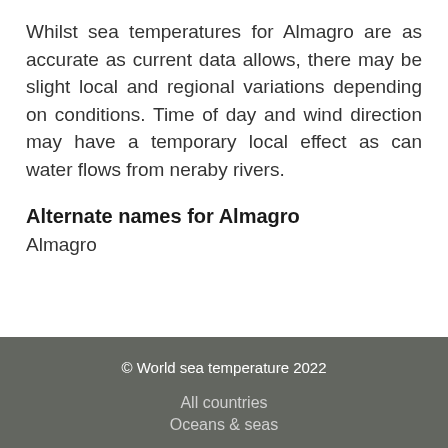Whilst sea temperatures for Almagro are as accurate as current data allows, there may be slight local and regional variations depending on conditions. Time of day and wind direction may have a temporary local effect as can water flows from neraby rivers.
Alternate names for Almagro
Almagro
© World sea temperature 2022
All countries
Oceans & seas